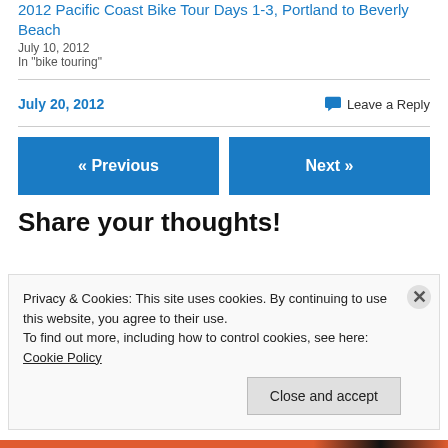2012 Pacific Coast Bike Tour Days 1-3, Portland to Beverly Beach
July 10, 2012
In "bike touring"
July 20, 2012
Leave a Reply
« Previous
Next »
Share your thoughts!
Privacy & Cookies: This site uses cookies. By continuing to use this website, you agree to their use.
To find out more, including how to control cookies, see here: Cookie Policy
Close and accept